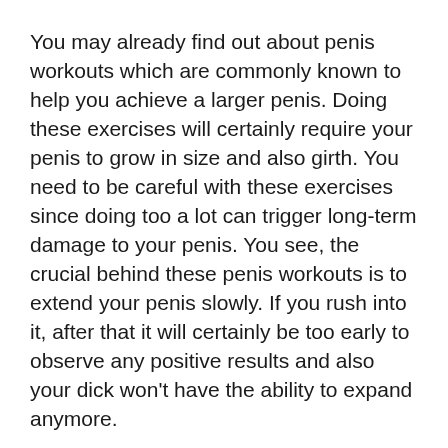You may already find out about penis workouts which are commonly known to help you achieve a larger penis. Doing these exercises will certainly require your penis to grow in size and also girth. You need to be careful with these exercises since doing too a lot can trigger long-term damage to your penis. You see, the crucial behind these penis workouts is to extend your penis slowly. If you rush into it, after that it will certainly be too early to observe any positive results and also your dick won't have the ability to expand anymore.
Exactly how specifically do penis workouts work? Well, it's not rocket scientific research however it's not rocket science. The principle